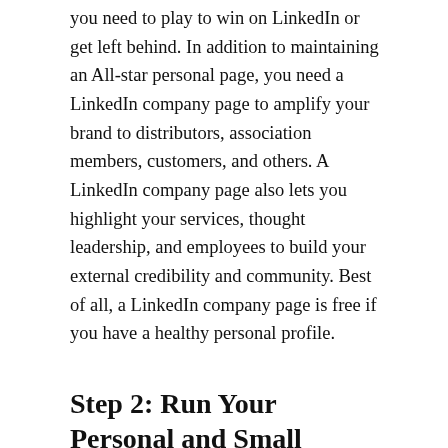you need to play to win on LinkedIn or get left behind. In addition to maintaining an All-star personal page, you need a LinkedIn company page to amplify your brand to distributors, association members, customers, and others. A LinkedIn company page also lets you highlight your services, thought leadership, and employees to build your external credibility and community. Best of all, a LinkedIn company page is free if you have a healthy personal profile.
Step 2: Run Your Personal and Small Business Company Page as a PPC or SEO Campaign
If your small business marketing strategy does not include a search engine optimization component, then it's holding you back and you need to change